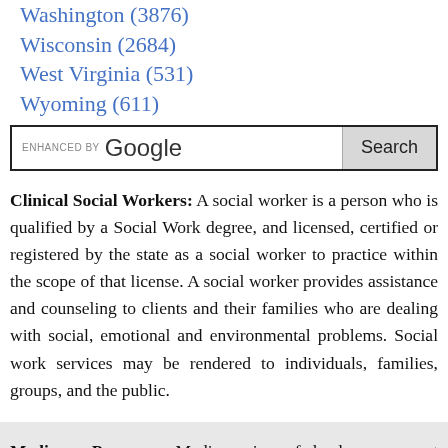Washington (3876)
Wisconsin (2684)
West Virginia (531)
Wyoming (611)
Clinical Social Workers: A social worker is a person who is qualified by a Social Work degree, and licensed, certified or registered by the state as a social worker to practice within the scope of that license. A social worker provides assistance and counseling to clients and their families who are dealing with social, emotional and environmental problems. Social work services may be rendered to individuals, families, groups, and the public.
Medicare Program: Medicare is a federal government program which provides health insurance to people who are 65 or older. This program also covers certain younger people with disabilities (who receive Social Security Disability Insurance -